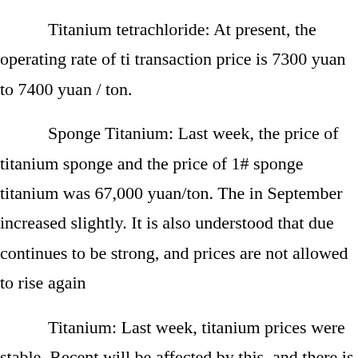Titanium tetrachloride: At present, the operating rate of ti... transaction price is 7300 yuan to 7400 yuan / ton.
Sponge Titanium: Last week, the price of titanium sponge... and the price of 1# sponge titanium was 67,000 yuan/ton. The... in September increased slightly. It is also understood that due... continues to be strong, and prices are not allowed to rise again...
Titanium: Last week, titanium prices were stable. Recent... will be affected by this, and there is a possibility of rising.
Magnesium ingots: This week, the price of magnesium in... users with stocking needs purchase on demand.
Titanium ore: Last week, the titanium ore market in Panz... Panzhihua area was tightly stocked and the price was relativel...